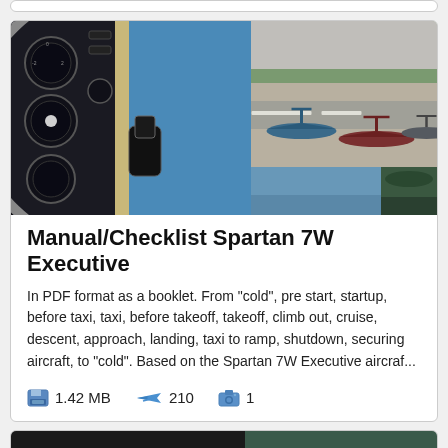[Figure (photo): Left: Close-up of aircraft instrument panel with gauges on dark background. Right top: Airport ramp scene with multiple aircraft parked. Right bottom row: Two smaller partial images - blue/teal color and dark green foliage.]
Manual/Checklist Spartan 7W Executive
In PDF format as a booklet. From "cold", pre start, startup, before taxi, taxi, before takeoff, takeoff, climb out, cruise, descent, approach, landing, taxi to ramp, shutdown, securing aircraft, to "cold". Based on the Spartan 7W Executive aircraf...
1.42 MB   210   1